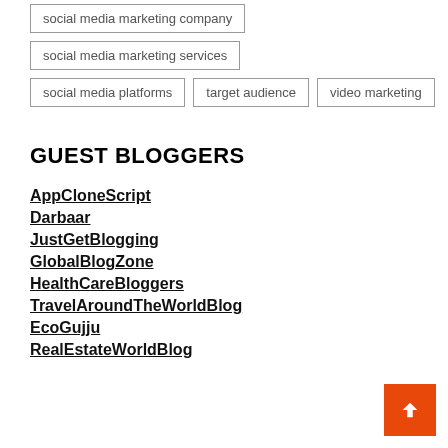social media marketing company
social media marketing services
social media platforms
target audience
video marketing
GUEST BLOGGERS
AppCloneScript
Darbaar
JustGetBlogging
GlobalBlogZone
HealthCareBloggers
TravelAroundTheWorldBlog
EcoGujju
RealEstateWorldBlog